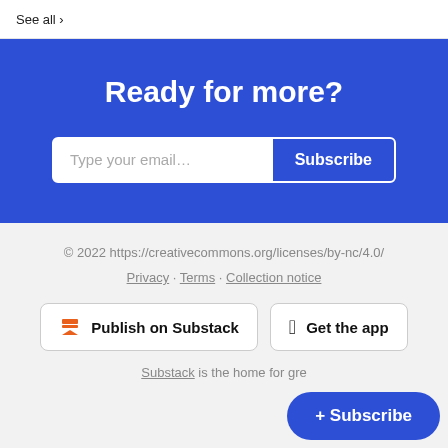See all ›
Ready for more?
Type your email... Subscribe
© 2022 https://creativecommons.org/licenses/by-nc/4.0/
Privacy · Terms · Collection notice
Publish on Substack
Get the app
+ Subscribe
Substack is the home for gre